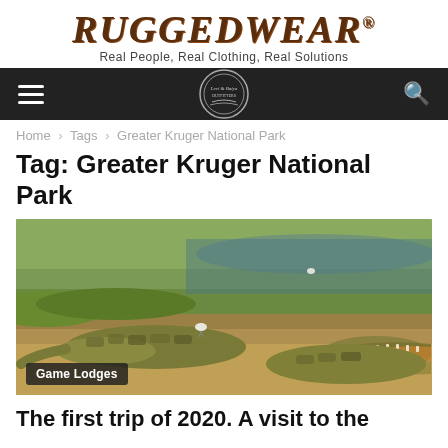RUGGEDWEAR® Real People, Real Clothing, Real Solutions
[Figure (logo): Navigation bar with hamburger menu icon, circular brand logo in center, and search icon on dark background]
Home › Tags › Greater Kruger National Park
Tag: Greater Kruger National Park
[Figure (photo): Photograph of two crocodiles basking on a muddy riverbank with water and green vegetation in the background. A small bird is visible on one of the crocodiles.]
Game Lodges
The first trip of 2020. A visit to the